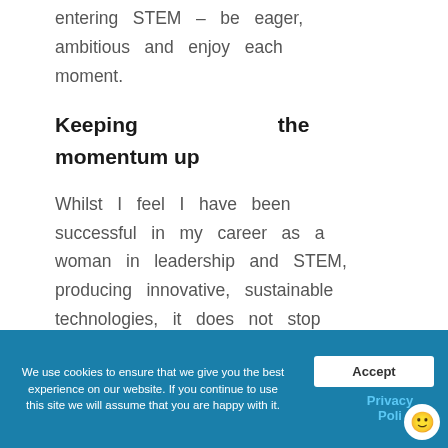entering STEM – be eager, ambitious and enjoy each moment.
Keeping the momentum up
Whilst I feel I have been successful in my career as a woman in leadership and STEM, producing innovative, sustainable technologies, it does not stop there. My work in regulatory compliance and science has
We use cookies to ensure that we give you the best experience on our website. If you continue to use this site we will assume that you are happy with it. Accept Privacy Poli